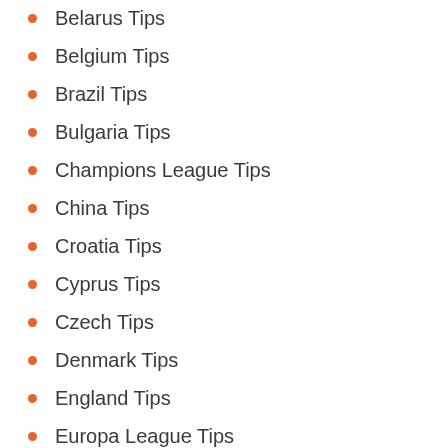Belarus Tips
Belgium Tips
Brazil Tips
Bulgaria Tips
Champions League Tips
China Tips
Croatia Tips
Cyprus Tips
Czech Tips
Denmark Tips
England Tips
Europa League Tips